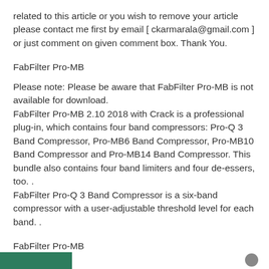related to this article or you wish to remove your article please contact me first by email [ ckarmarala@gmail.com ] or just comment on given comment box. Thank You.
FabFilter Pro-MB
Please note: Please be aware that FabFilter Pro-MB is not available for download.
FabFilter Pro-MB 2.10 2018 with Crack is a professional plug-in, which contains four band compressors: Pro-Q 3 Band Compressor, Pro-MB6 Band Compressor, Pro-MB10 Band Compressor and Pro-MB14 Band Compressor. This bundle also contains four band limiters and four de-essers, too. .
FabFilter Pro-Q 3 Band Compressor is a six-band compressor with a user-adjustable threshold level for each band. .
FabFilter Pro-MB